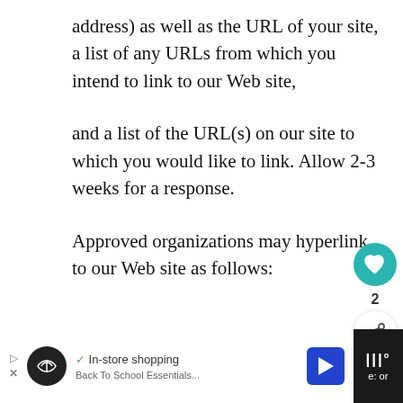address) as well as the URL of your site, a list of any URLs from which you intend to link to our Web site,
and a list of the URL(s) on our site to which you would like to link. Allow 2-3 weeks for a response.
Approved organizations may hyperlink to our Web site as follows:
[Figure (screenshot): UI overlay with teal heart button, count '2', and share button]
[Figure (screenshot): What's Next panel with teal label, arrow icon, thumbnail image, and text '40 Things I Stopped...']
[Figure (screenshot): Advertisement bar at bottom: dark background with white inner panel showing checkmark 'In-store shopping', circular logo, blue navigation arrow icon, and dark right section with partial text]